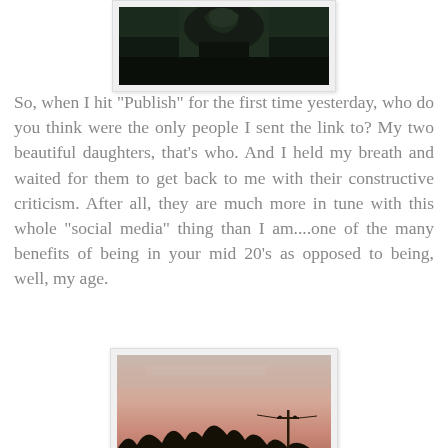[Figure (photo): Dark nature photo (partial, top of page) — dark foliage against dark background]
So, when I hit "Publish" for the first time yesterday, who do you think were the only people I sent the link to? My two beautiful daughters, that's who. And I held my breath and waited for them to get back to me with their constructive criticism. After all, they are much more in tune with this whole "social media" thing than I am....one of the many benefits of being in your mid 20's as opposed to being, well, my age.
[Figure (photo): Outdoor sunset/dusk photo showing silhouettes of trees and a utility pole against a pink-peach sky]